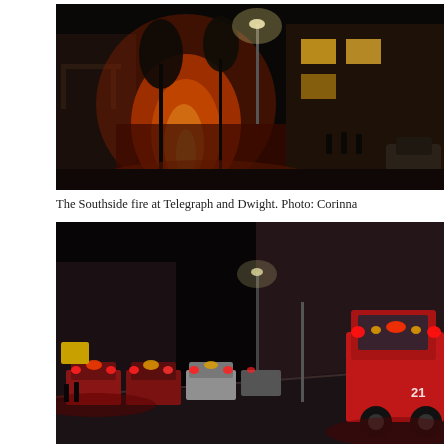[Figure (photo): Nighttime photograph of a fire at a building on Southside at Telegraph and Dwight. Flames and red glow visible between buildings, with trees and parked cars on the street.]
The Southside fire at Telegraph and Dwight. Photo: Corinna
[Figure (photo): Nighttime photograph of fire trucks and emergency vehicles lined up on a street beside large industrial or warehouse buildings. A fire engine numbered 21 is prominently visible in the foreground on the right.]